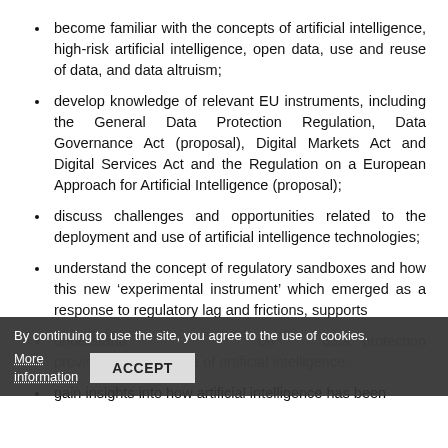become familiar with the concepts of artificial intelligence, high-risk artificial intelligence, open data, use and reuse of data, and data altruism;
develop knowledge of relevant EU instruments, including the General Data Protection Regulation, Data Governance Act (proposal), Digital Markets Act and Digital Services Act and the Regulation on a European Approach for Artificial Intelligence (proposal);
discuss challenges and opportunities related to the deployment and use of artificial intelligence technologies;
understand the concept of regulatory sandboxes and how this new ‘experimental instrument’ which emerged as a response to regulatory lag and frictions, supports i[nnovation];
understand [the interaction] on data protection provisions and the use of artificial intelligence;
gain insights into how artificial intelligence has been [cut off]